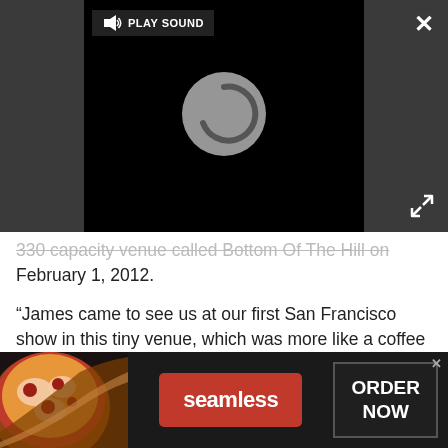[Figure (screenshot): Video player with dark background showing a loading spinner circle. A 'PLAY SOUND' button with speaker icon is in the top left. A white X close button is in the top right corner of the page. An expand/resize icon is at the bottom right of the dark area.]
330 capacity venue called Bottom Of The Hill on February 1, 2012.
“James came to see us at our first San Francisco show in this tiny venue, which was more like a coffee shop,” A Nameless Ghoul continued. "We were stood backstage in our underwear – it probably wasn’t the best way to meet your idol for the first time. Then he came by after the show. Of course, we were in our
[Figure (screenshot): Seamless food delivery advertisement banner with pizza image on left, red Seamless logo button in center, and ORDER NOW button on right with close X.]